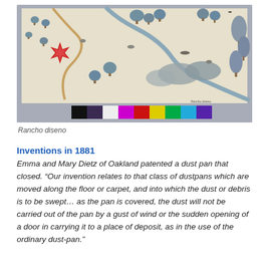[Figure (illustration): Rancho diseno map illustration showing trees, hills, a red star compass rose, winding paths, and a color calibration bar at the bottom]
Rancho diseno
Inventions in 1881
Emma and Mary Dietz of Oakland patented a dust pan that closed. “Our invention relates to that class of dustpans which are moved along the floor or carpet, and into which the dust or debris is to be swept… as the pan is covered, the dust will not be carried out of the pan by a gust of wind or the sudden opening of a door in carrying it to a place of deposit, as in the use of the ordinary dust-pan.”